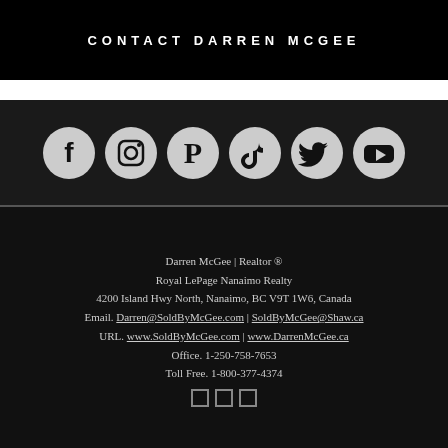CONTACT DARREN MCGEE
[Figure (illustration): Six social media icons (Facebook, Instagram, Pinterest, TikTok, Twitter, YouTube) displayed as white icons on dark circular backgrounds, arranged horizontally on a black background.]
Darren McGee | Realtor ®
Royal LePage Nanaimo Realty
4200 Island Hwy North, Nanaimo, BC V9T 1W6, Canada
Email. Darren@SoldByMcGee.com | SoldByMcGee@Shaw.ca
URL. www.SoldByMcGee.com | www.DarrenMcGee.ca
Office. 1-250-758-7653
Toll Free. 1-800-377-4374